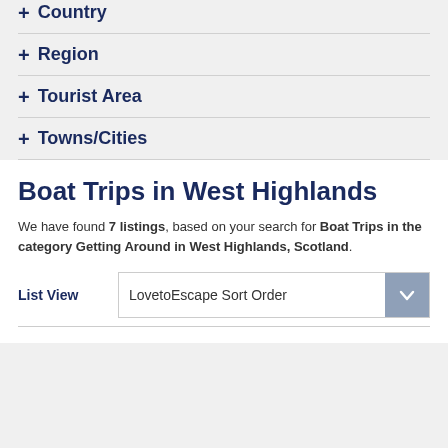+ Country
+ Region
+ Tourist Area
+ Towns/Cities
Boat Trips in West Highlands
We have found 7 listings, based on your search for Boat Trips in the category Getting Around in West Highlands, Scotland.
List View  LovetoEscape Sort Order